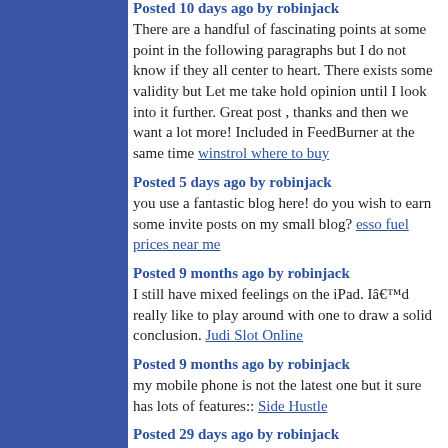Posted 10 days ago by robinjack
There are a handful of fascinating points at some point in the following paragraphs but I do not know if they all center to heart. There exists some validity but Let me take hold opinion until I look into it further. Great post , thanks and then we want a lot more! Included in FeedBurner at the same time winstrol where to buy
Posted 5 days ago by robinjack
you use a fantastic blog here! do you wish to earn some invite posts on my small blog? esso fuel prices near me
Posted 9 months ago by robinjack
I still have mixed feelings on the iPad. Iâd really like to play around with one to draw a solid conclusion. Judi Slot Online
Posted 9 months ago by robinjack
my mobile phone is not the latest one but it sure has lots of features:: Side Hustle
Posted 29 days ago by robinjack
I really love the theme on your web site, I run a website , and i would love to use this theme. Is it a free vogue, or